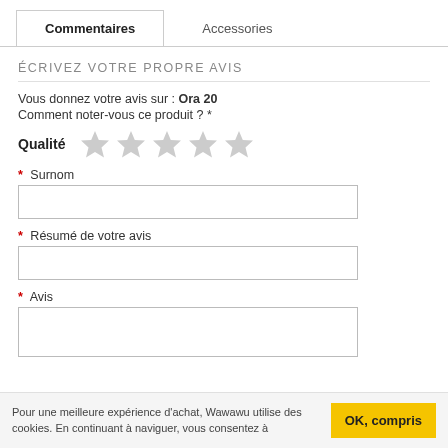Commentaires
Accessories
ÉCRIVEZ VOTRE PROPRE AVIS
Vous donnez votre avis sur : Ora 20
Comment noter-vous ce produit ? *
Qualité ★ ★ ★ ★ ★
* Surnom
* Résumé de votre avis
* Avis
Pour une meilleure expérience d'achat, Wawawu utilise des cookies. En continuant à naviguer, vous consentez à
OK, compris